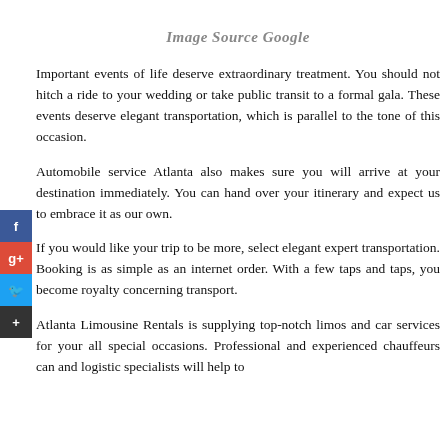Image Source Google
Important events of life deserve extraordinary treatment. You should not hitch a ride to your wedding or take public transit to a formal gala. These events deserve elegant transportation, which is parallel to the tone of this occasion.
Automobile service Atlanta also makes sure you will arrive at your destination immediately. You can hand over your itinerary and expect us to embrace it as our own.
If you would like your trip to be more, select elegant expert transportation. Booking is as simple as an internet order. With a few taps and taps, you become royalty concerning transport.
Atlanta Limousine Rentals is supplying top-notch limos and car services for your all special occasions. Professional and experienced chauffeurs can and logistic specialists will help to